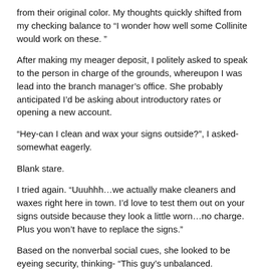from their original color. My thoughts quickly shifted from my checking balance to “I wonder how well some Collinite would work on these. ”
After making my meager deposit, I politely asked to speak to the person in charge of the grounds, whereupon I was lead into the branch manager’s office. She probably anticipated I’d be asking about introductory rates or opening a new account.
“Hey-can I clean and wax your signs outside?”, I asked-somewhat eagerly.
Blank stare.
I tried again. “Uuuhhh…we actually make cleaners and waxes right here in town. I’d love to test them out on your signs outside because they look a little worn…no charge. Plus you won’t have to replace the signs.”
Based on the nonverbal social cues, she looked to be eyeing security, thinking- “This guy’s unbalanced. Someone see to his immediate ejection or pull the nearest alarm.”
Long story short-they weren’t interested, and I suppose I should have given my approach a little more thought, but what can I say-detailing’s part of who